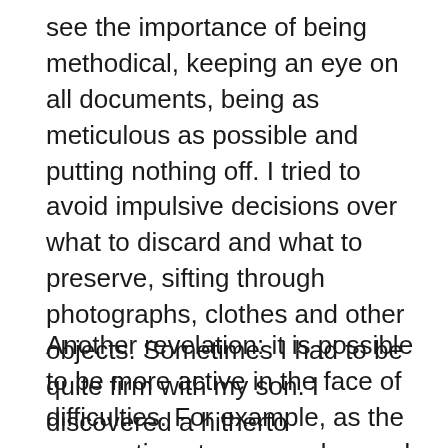see the importance of being methodical, keeping an eye on all documents, being as meticulous as possible and putting nothing off. I tried to avoid impulsive decisions over what to discard and what to preserve, sifting through photographs, clothes and other objects. Sometimes I had to be quite firm with my son. I discovered a hitherto unsuspected stubbornness: in the face of any difficulty I did not give up but on the contrary became even more determined.
Another revelation: it is possible to be more active in the face of difficulties. For example, as the preparations to move advanced,